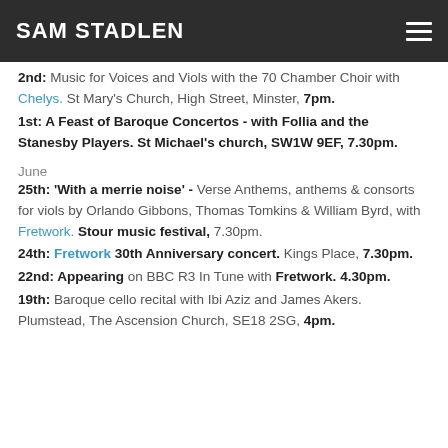SAM STADLEN
2nd: Music for Voices and Viols with the 70 Chamber Choir with Chelys. St Mary's Church, High Street, Minster, 7pm.
1st: A Feast of Baroque Concertos - with Follia and the Stanesby Players. St Michael's church, SW1W 9EF, 7.30pm.
June
25th: 'With a merrie noise' - Verse Anthems, anthems & consorts for viols by Orlando Gibbons, Thomas Tomkins & William Byrd, with Fretwork. Stour music festival, 7.30pm.
24th: Fretwork 30th Anniversary concert. Kings Place, 7.30pm.
22nd: Appearing on BBC R3 In Tune with Fretwork. 4.30pm.
19th: Baroque cello recital with Ibi Aziz and James Akers. Plumstead, The Ascension Church, SE18 2SG, 4pm.